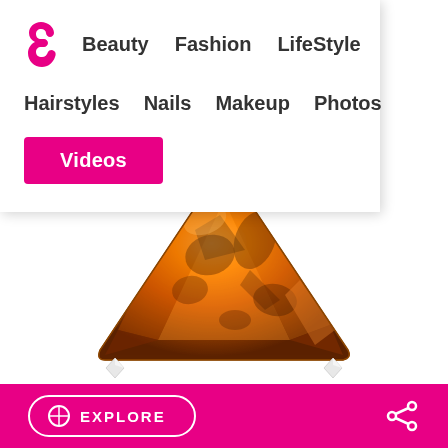Beauty  Fashion  LifeStyle  Hairstyles  Nails  Makeup  Photos  Videos
[Figure (photo): An orange/amber triangular gemstone (citrine or topaz) pendant with small diamond accents at the top bail and bottom corners, shown on a white background. The gem is a large trillion-cut faceted orange stone.]
EXPLORE  (share icon)